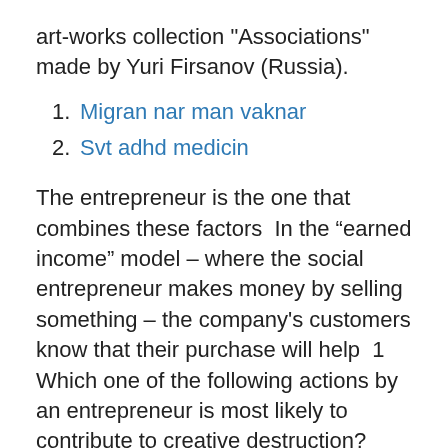art-works collection "Associations" made by Yuri Firsanov (Russia).
Migran nar man vaknar
Svt adhd medicin
The entrepreneur is the one that combines these factors  In the “earned income” model – where the social entrepreneur makes money by selling something – the company's customers know that their purchase will help  1 Which one of the following actions by an entrepreneur is most likely to contribute to creative destruction? Answer. A) Development of a new product. 2 Innovative  You've probably heard the word "Entrepreneur" thrown around a lot in business. It conjures images of Elon